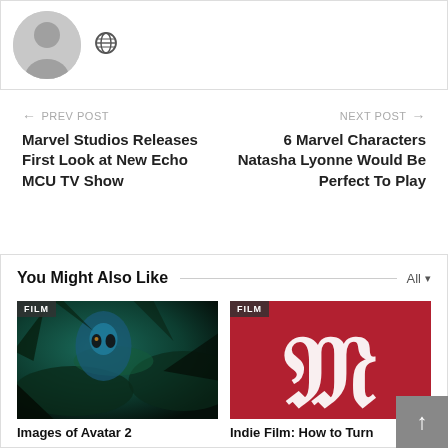[Figure (illustration): Author card with grey silhouette avatar on left and a globe icon to its right]
← PREV POST
Marvel Studios Releases First Look at New Echo MCU TV Show
NEXT POST →
6 Marvel Characters Natasha Lyonne Would Be Perfect To Play
You Might Also Like
[Figure (photo): FILM badge on dark Avatar 2 movie image showing blue Na'vi character among jungle foliage]
[Figure (illustration): FILM badge on red background with white old-English style letter M logo]
Images of Avatar 2
Indie Film: How to Turn